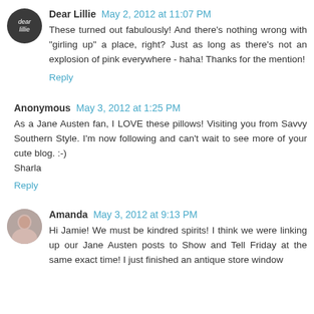[Figure (photo): Circular avatar logo with dark background and stylized text 'Dear Lillie']
Dear Lillie May 2, 2012 at 11:07 PM
These turned out fabulously! And there's nothing wrong with "girling up" a place, right? Just as long as there's not an explosion of pink everywhere - haha! Thanks for the mention!
Reply
Anonymous May 3, 2012 at 1:25 PM
As a Jane Austen fan, I LOVE these pillows! Visiting you from Savvy Southern Style. I'm now following and can't wait to see more of your cute blog. :-)
Sharla
Reply
[Figure (photo): Small circular avatar photo of a woman]
Amanda May 3, 2012 at 9:13 PM
Hi Jamie! We must be kindred spirits! I think we were linking up our Jane Austen posts to Show and Tell Friday at the same exact time! I just finished an antique store window